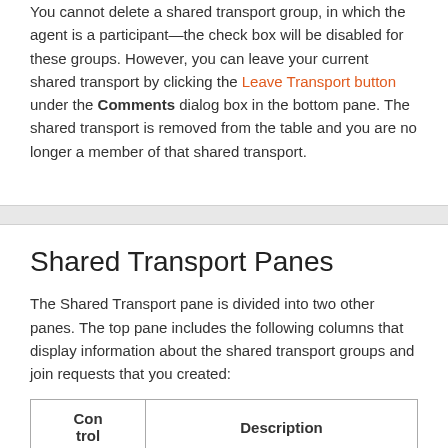You cannot delete a shared transport group, in which the agent is a participant—the check box will be disabled for these groups. However, you can leave your current shared transport by clicking the Leave Transport button under the Comments dialog box in the bottom pane. The shared transport is removed from the table and you are no longer a member of that shared transport.
Shared Transport Panes
The Shared Transport pane is divided into two other panes. The top pane includes the following columns that display information about the shared transport groups and join requests that you created:
| Con
trol | Description |
| --- | --- |
|  |  |